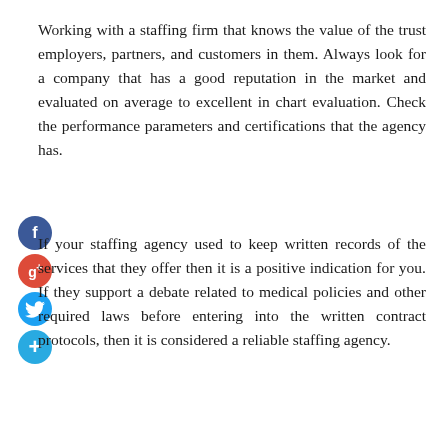Working with a staffing firm that knows the value of the trust employers, partners, and customers in them. Always look for a company that has a good reputation in the market and evaluated on average to excellent in chart evaluation. Check the performance parameters and certifications that the agency has.
[Figure (other): Four social media share buttons stacked vertically on the left side: Facebook (dark blue circle with 'f'), Google+ (red circle with 'g+'), Twitter (light blue circle with bird icon), and a blue circle with '+' sign.]
If your staffing agency used to keep written records of the services that they offer then it is a positive indication for you. If they support a debate related to medical policies and other required laws before entering into the written contract protocols, then it is considered a reliable staffing agency.